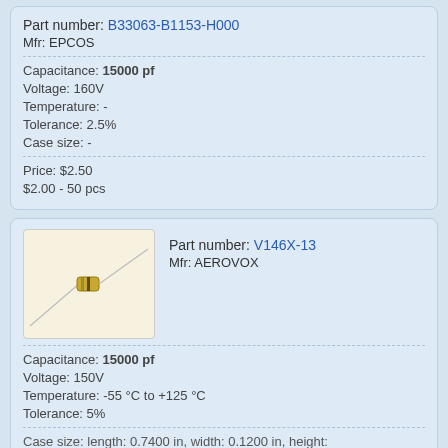Part number: B33063-B1153-H000
Mfr: EPCOS
Capacitance: 15000 pf
Voltage: 160V
Temperature: -
Tolerance: 2.5%
Case size: -
Price: $2.50
$2.00 - 50 pcs
[Figure (photo): Photo of a small axial capacitor component with gold body and wire leads on a light background]
Part number: V146X-13
Mfr: AEROVOX
Capacitance: 15000 pf
Voltage: 150V
Temperature: -55 °C to +125 °C
Tolerance: 5%
Case size: length: 0.7400 in, width: 0.1200 in, height: